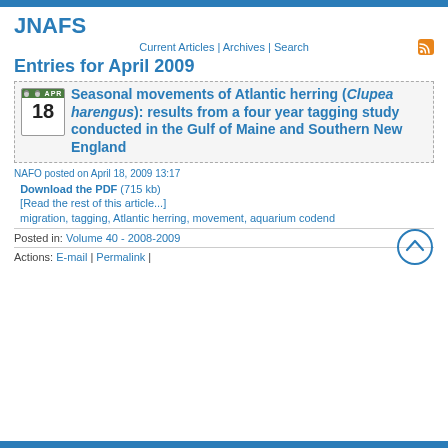JNAFS
Current Articles | Archives | Search
Entries for April 2009
Seasonal movements of Atlantic herring (Clupea harengus): results from a four year tagging study conducted in the Gulf of Maine and Southern New England
NAFO posted on April 18, 2009 13:17
Download the PDF (715 kb)
[Read the rest of this article...]
migration, tagging, Atlantic herring, movement, aquarium codend
Posted in: Volume 40 - 2008-2009
Actions: E-mail | Permalink |